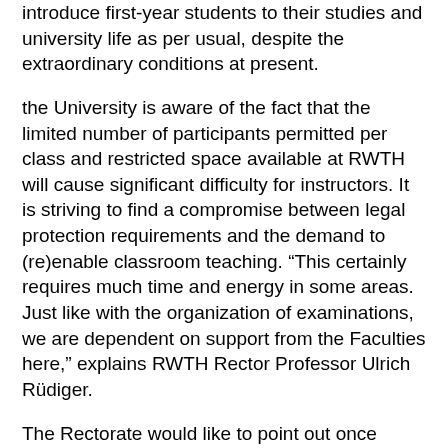introduce first-year students to their studies and university life as per usual, despite the extraordinary conditions at present.
the University is aware of the fact that the limited number of participants permitted per class and restricted space available at RWTH will cause significant difficulty for instructors. It is striving to find a compromise between legal protection requirements and the demand to (re)enable classroom teaching. “This certainly requires much time and energy in some areas. Just like with the organization of examinations, we are dependent on support from the Faculties here,” explains RWTH Rector Professor Ulrich Rüdiger.
The Rectorate would like to point out once again that, due to the continuing risk of infection, employees from at-risk groups cannot currently hold classes in person. In cases of doubt, the University Medical Center will decide whether employees belong to an at-risk group.
When it comes to the availability of rooms at the University, examinations and classes take precedence in